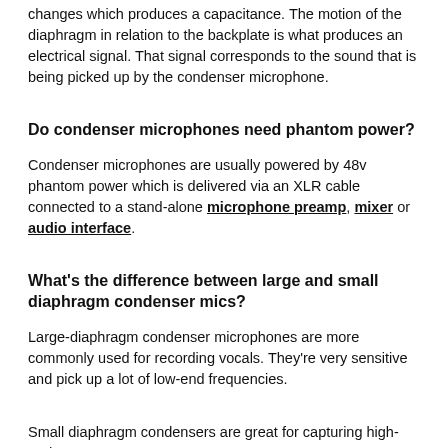changes which produces a capacitance. The motion of the diaphragm in relation to the backplate is what produces an electrical signal. That signal corresponds to the sound that is being picked up by the condenser microphone.
Do condenser microphones need phantom power?
Condenser microphones are usually powered by 48v phantom power which is delivered via an XLR cable connected to a stand-alone microphone preamp, mixer or audio interface.
What’s the difference between large and small diaphragm condenser mics?
Large-diaphragm condenser microphones are more commonly used for recording vocals. They’re very sensitive and pick up a lot of low-end frequencies.
Small diaphragm condensers are great for capturing high-end